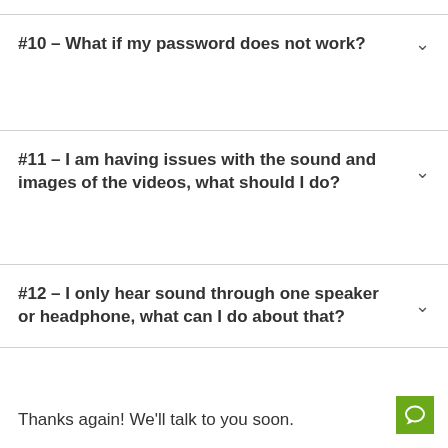#10 – What if my password does not work?
#11 – I am having issues with the sound and images of the videos, what should I do?
#12 – I only hear sound through one speaker or headphone, what can I do about that?
Thanks again! We'll talk to you soon.